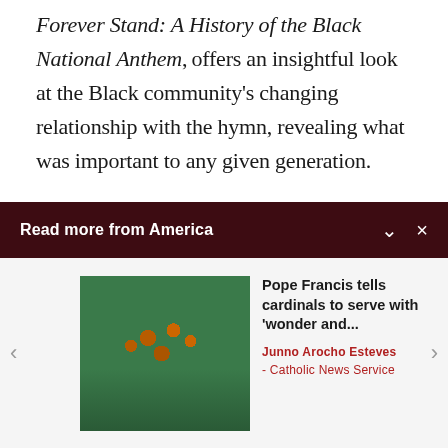Forever Stand: A History of the Black National Anthem, offers an insightful look at the Black community's changing relationship with the hymn, revealing what was important to any given generation.
"Lift Every Voice and Sing" was written in 1900 by two brothers from Jacksonville, Fla.: novelist, poet, songwriter and lawyer-activist James
Read more from America
[Figure (photo): Photo of cardinals in green vestments during a religious ceremony]
Pope Francis tells cardinals to serve with 'wonder and...
Junno Arocho Esteves - Catholic News Service